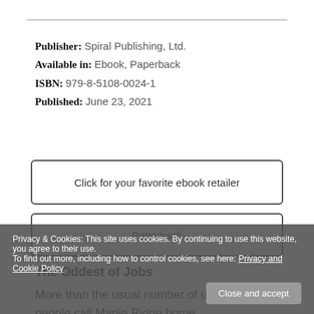Publisher: Spiral Publishing, Ltd.
Available in: Ebook, Paperback
ISBN: 979-8-5108-0024-1
Published: June 23, 2021
Click for your favorite ebook retailer
Paperback
The Oddest of Jobs
More than the usual number of unusual people call Maple Ridge home.
Privacy & Cookies: This site uses cookies. By continuing to use this website, you agree to their use. To find out more, including how to control cookies, see here: Privacy and Cookie Policy
Close and accept